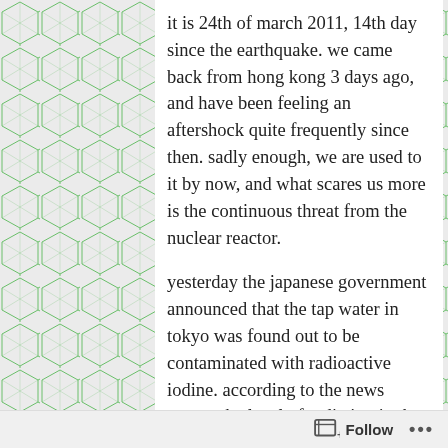it is 24th of march 2011, 14th day since the earthquake. we came back from hong kong 3 days ago, and have been feeling an aftershock quite frequently since then. sadly enough, we are used to it by now, and what scares us more is the continuous threat from the nuclear reactor.
yesterday the japanese government announced that the tap water in tokyo was found out to be contaminated with radioactive iodine. according to the news report, the level of radiation in the city water does not affect the adults nor children, but may affect infants who drink formula or eat baby food made with the water. as soon as the news was released, the bottled water in shops
Follow ...